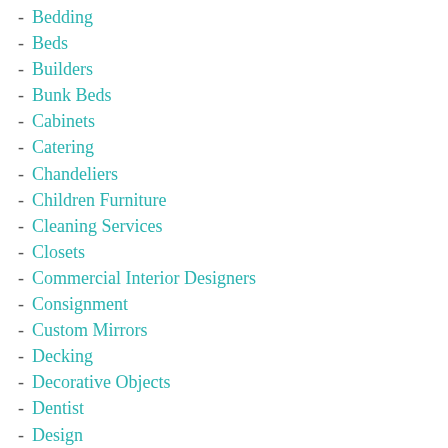Bedding
Beds
Builders
Bunk Beds
Cabinets
Catering
Chandeliers
Children Furniture
Cleaning Services
Closets
Commercial Interior Designers
Consignment
Custom Mirrors
Decking
Decorative Objects
Dentist
Design
Doors & Windows